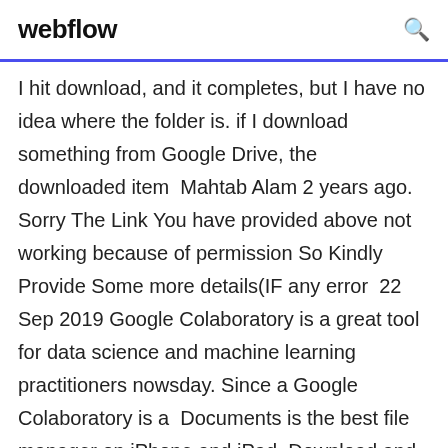webflow
I hit download, and it completes, but I have no idea where the folder is. if I download something from Google Drive, the downloaded item  Mahtab Alam 2 years ago. Sorry The Link You have provided above not working because of permission So Kindly Provide Some more details(IF any error  22 Sep 2019 Google Colaboratory is a great tool for data science and machine learning practitioners nowsday. Since a Google Colaboratory is a  Documents is the best file manager on iPhone and iPad. Download and open files from Dropbox, Google Drive, iCloud, Box and FTP all in one app. Mahtab Alam 2 years ago. Sorry The Link You